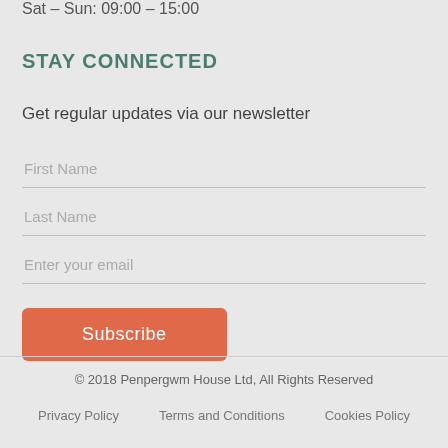Sat – Sun: 09:00 – 15:00
STAY CONNECTED
Get regular updates via our newsletter
First Name
Last Name
Enter your email
Subscribe
© 2018 Penpergwm House Ltd, All Rights Reserved
Privacy Policy     Terms and Conditions     Cookies Policy